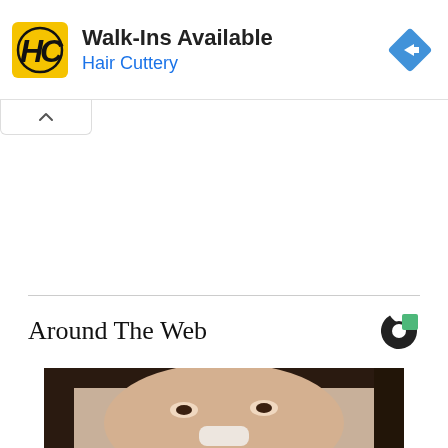[Figure (other): Hair Cuttery advertisement banner with yellow HC logo, text 'Walk-Ins Available' and 'Hair Cuttery' in blue, and a blue navigation diamond icon on the right]
[Figure (other): Collapse/chevron up tab button below the ad banner]
Around The Web
[Figure (photo): Close-up photo of an Asian woman's face with dark straight hair, looking slightly upward, with a white nose strip or tissue on her nose]